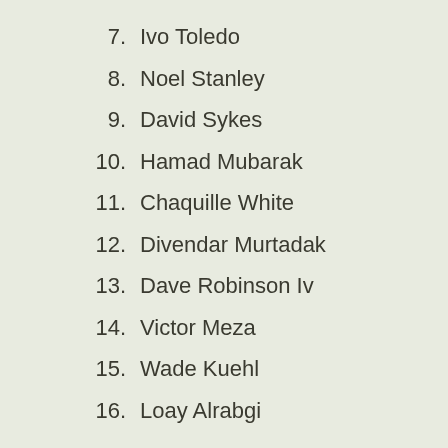7.  Ivo Toledo
8.  Noel Stanley
9.  David Sykes
10.  Hamad Mubarak
11.  Chaquille White
12.  Divendar Murtadak
13.  Dave Robinson Iv
14.  Victor Meza
15.  Wade Kuehl
16.  Loay Alrabgi